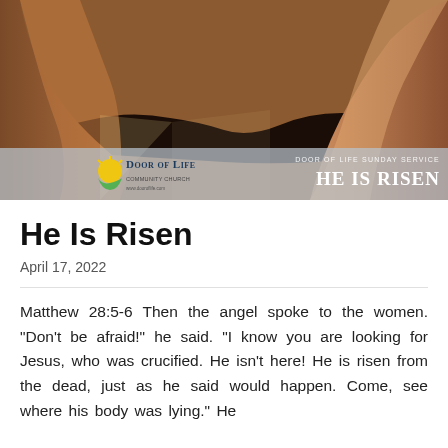[Figure (photo): Photograph of an empty tomb cave opening with sunlight and three crosses visible on a hill in the background against a dramatic purple-orange sunset sky, with Door of Life church logo and 'HE IS RISEN' overlay text at the bottom]
He Is Risen
April 17, 2022
Matthew 28:5-6 Then the angel spoke to the women. “Don’t be afraid!” he said. “I know you are looking for Jesus, who was crucified. He isn’t here! He is risen from the dead, just as he said would happen. Come, see where his body was lying.” He